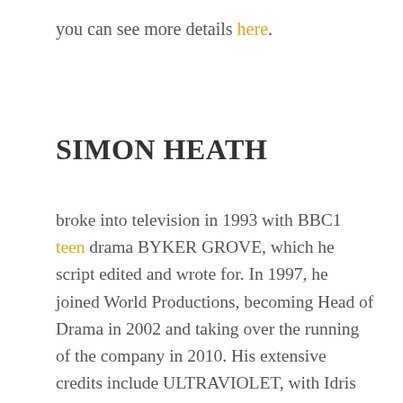you can see more details here.
SIMON HEATH
broke into television in 1993 with BBC1 teen drama BYKER GROVE, which he script edited and wrote for. In 1997, he joined World Productions, becoming Head of Drama in 2002 and taking over the running of the company in 2010. His extensive credits include ULTRAVIOLET, with Idris Elba for C4; PARTY ANIMALS for BBC2; UNITED, a film about the Munich air disaster; and an adaptation of Joseph Conrad's THE SECRET AGENT. However, he is best known for long-running police corruption drama